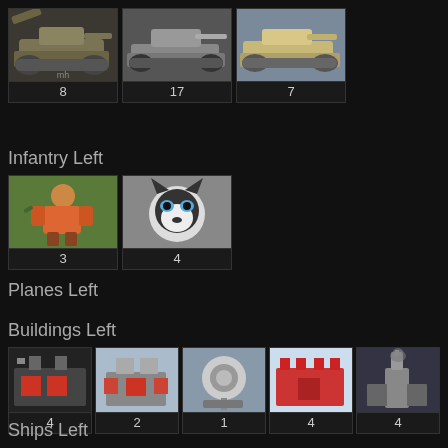[Figure (other): Three military tank/vehicle thumbnails with counts 8, 17, 7]
Infantry Left
[Figure (other): Two infantry unit thumbnails (robot soldier and wolf/dog) with counts 3, 4]
Planes Left
Buildings Left
[Figure (other): Five building thumbnails with counts 4, 2, 1, 4, 4]
Ships Left